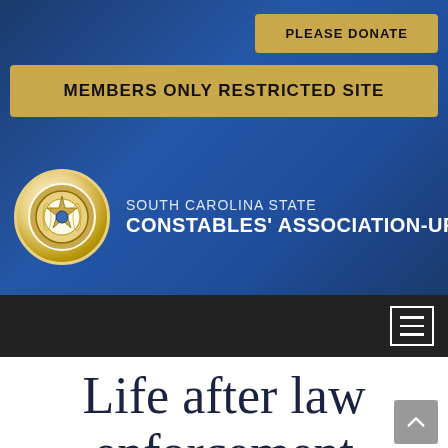[Figure (screenshot): Blue gradient header with gold 'PLEASE DONATE' button and 'MEMBERS ONLY RESTRICTED SITE' button]
[Figure (logo): South Carolina State Constables' Association-Upstate badge logo with circular gold/cream emblem]
Life after law enforcement
Posted on April 11, 2019 by admin_imw